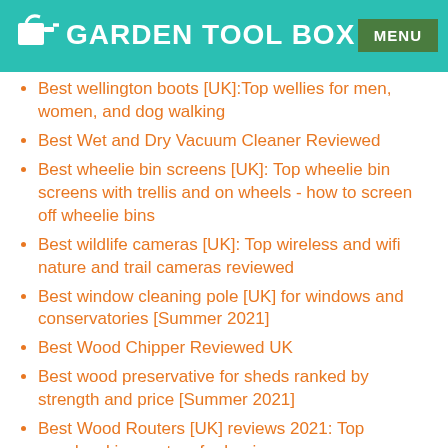GARDEN TOOL BOX
Best wellington boots [UK]:Top wellies for men, women, and dog walking
Best Wet and Dry Vacuum Cleaner Reviewed
Best wheelie bin screens [UK]: Top wheelie bin screens with trellis and on wheels - how to screen off wheelie bins
Best wildlife cameras [UK]: Top wireless and wifi nature and trail cameras reviewed
Best window cleaning pole [UK] for windows and conservatories [Summer 2021]
Best Wood Chipper Reviewed UK
Best wood preservative for sheds ranked by strength and price [Summer 2021]
Best Wood Routers [UK] reviews 2021: Top woodworking routers for beginners
Best wooden planters [UK] for the best raised